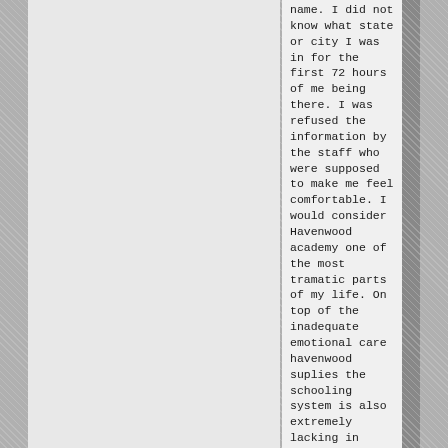name. I did not know what state or city I was in for the first 72 hours of me being there. I was refused the information by the staff who were supposed to make me feel comfortable. I would consider Havenwood academy one of the most tramatic parts of my life. On top of the inadequate emotional care havenwood suplies the schooling system is also extremely lacking in structure. The teachers were not prepared to teach the subjects that they were assigned and that often left students including myself at a standstill academically. The managements was horrible and increasingly got worse. My family and I did not come out with any real improvements to our relationship. After I left havenwood all staff